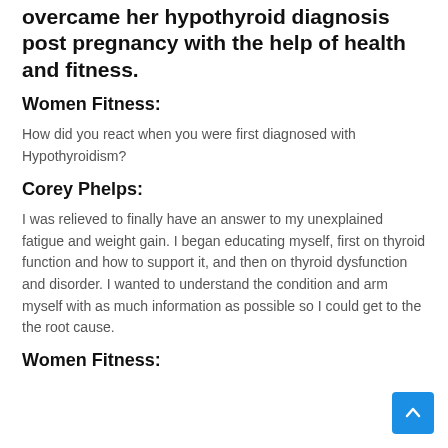overcame her hypothyroid diagnosis post pregnancy with the help of health and fitness.
Women Fitness:
How did you react when you were first diagnosed with Hypothyroidism?
Corey Phelps:
I was relieved to finally have an answer to my unexplained fatigue and weight gain. I began educating myself, first on thyroid function and how to support it, and then on thyroid dysfunction and disorder. I wanted to understand the condition and arm myself with as much information as possible so I could get to the the root cause.
Women Fitness: